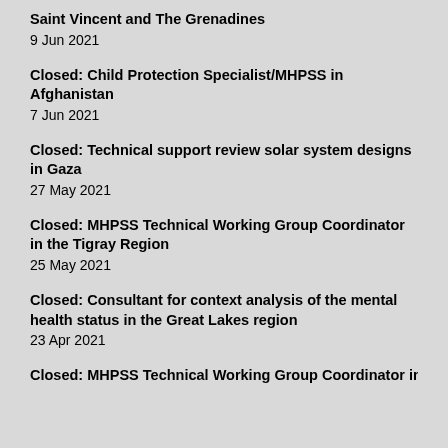Saint Vincent and The Grenadines
9 Jun 2021
Closed: Child Protection Specialist/MHPSS in Afghanistan
7 Jun 2021
Closed: Technical support review solar system designs in Gaza
27 May 2021
Closed: MHPSS Technical Working Group Coordinator in the Tigray Region
25 May 2021
Closed: Consultant for context analysis of the mental health status in the Great Lakes region
23 Apr 2021
Closed: MHPSS Technical Working Group Coordinator in…